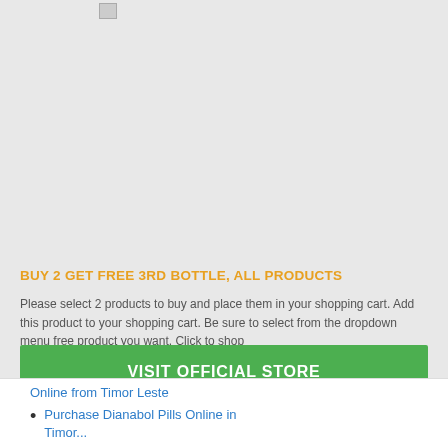[Figure (other): Broken image placeholder at top of panel]
BUY 2 GET FREE 3RD BOTTLE, ALL PRODUCTS
Please select 2 products to buy and place them in your shopping cart. Add this product to your shopping cart. Be sure to select from the dropdown menu free product you want. Click to shop
VISIT OFFICIAL STORE
Online from Timor Leste
Purchase Dianabol Pills Online in Timor...